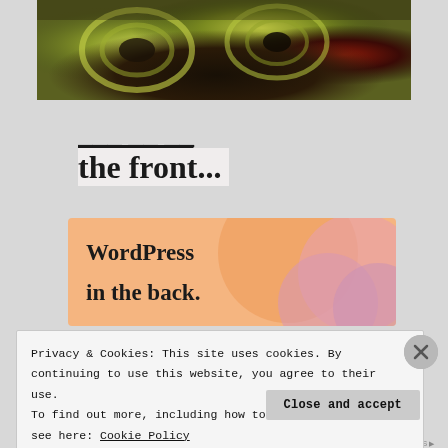[Figure (photo): Close-up food photo showing roasted or grilled artichoke or fennel slices with charred edges on a baking sheet]
the front...
[Figure (other): WordPress advertisement banner with orange/peach gradient background and overlapping circles, text reads WordPress in the back.]
Privacy & Cookies: This site uses cookies. By continuing to use this website, you agree to their use.
To find out more, including how to control cookies, see here: Cookie Policy
Close and accept